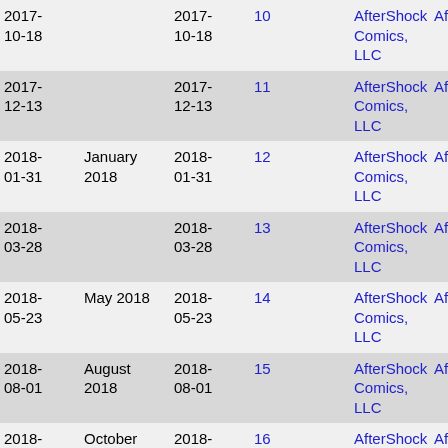| Date | Month | Date2 | Issue |  | Publisher | Publisher2 |
| --- | --- | --- | --- | --- | --- | --- |
| 2017-10-18 |  | 2017-10-18 | 10 |  | AfterShock Comics, LLC | Aftershock |
| 2017-12-13 |  | 2017-12-13 | 11 |  | AfterShock Comics, LLC | Aftershock |
| 2018-01-31 | January 2018 | 2018-01-31 | 12 |  | AfterShock Comics, LLC | Aftershock |
| 2018-03-28 |  | 2018-03-28 | 13 |  | AfterShock Comics, LLC | Aftershock |
| 2018-05-23 | May 2018 | 2018-05-23 | 14 |  | AfterShock Comics, LLC | Aftershock |
| 2018-08-01 | August 2018 | 2018-08-01 | 15 |  | AfterShock Comics, LLC | Aftershock |
| 2018-10-10 | October 2018 | 2018-10-10 | 16 |  | AfterShock Comics, LLC | Aftershock |
| 2018-11-07 | November 2018 | 2018-11-07 | 17 |  | AfterShock Comics, LLC | Aftershock |